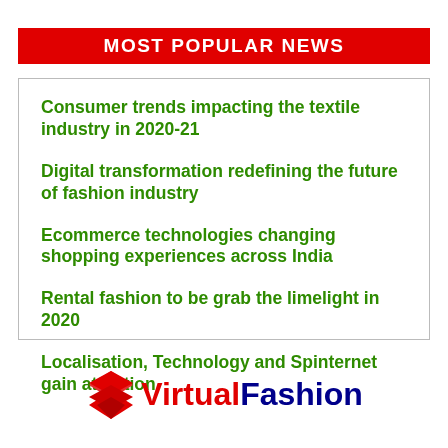MOST POPULAR NEWS
Consumer trends impacting the textile industry in 2020-21
Digital transformation redefining the future of fashion industry
Ecommerce technologies changing shopping experiences across India
Rental fashion to be grab the limelight in 2020
Localisation, Technology and Spinternet gain attention
[Figure (logo): VirtualFashion logo with red chevron/arrow icon and text 'VirtualFashion' in red and dark blue]